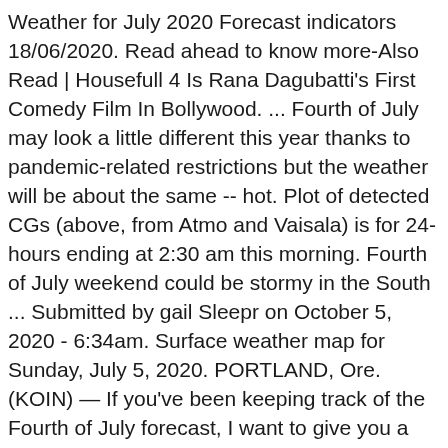Weather for July 2020 Forecast indicators 18/06/2020. Read ahead to know more-Also Read | Housefull 4 Is Rana Dagubatti's First Comedy Film In Bollywood. ... Fourth of July may look a little different this year thanks to pandemic-related restrictions but the weather will be about the same -- hot. Plot of detected CGs (above, from Atmo and Vaisala) is for 24-hours ending at 2:30 am this morning. Fourth of July weekend could be stormy in the South ... Submitted by gail Sleepr on October 5, 2020 - 6:34am. Surface weather map for Sunday, July 5, 2020. PORTLAND, Ore. (KOIN) — If you've been keeping track of the Fourth of July forecast, I want to give you a heads up on a few minor changes across parts of ... Friday, July 03, 2020. United States July 2020 – Calendar with American holidays. The hottest periods will be in late June, early to mid-July, and early August. The Fourth of July commemorates the adoption of the Declaration of Independence by delegates from the 13 colonies in 1776. How are things looking as we head into July and the heart of the summer? Edwardsville is hoping to